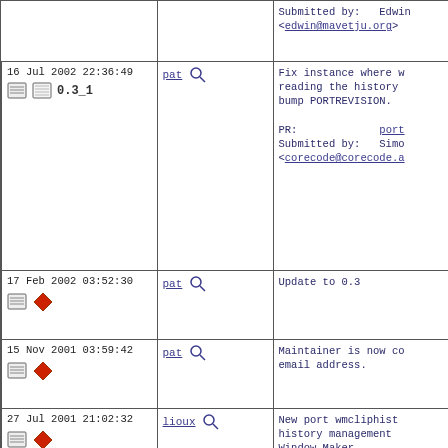| Date/Version | Committer | Description |
| --- | --- | --- |
|  |  | Submitted by: Edwin
<edwin@mavetju.org> |
| 16 Jul 2002 22:36:49
0.3_1 | pat | Fix instance where w... reading the history... bump PORTREVISION.

PR: port
Submitted by: Simo
<corecode@corecode.a |
| 17 Feb 2002 03:52:30 | pat | Update to 0.3 |
| 15 Nov 2001 03:59:42 | pat | Maintainer is now co... email address. |
| 27 Jul 2001 21:02:32 | lioux | New port wmcliphist history management Window Maker |
Number of commits found: 42
Servers and bandwidth provided by New York Internet, iXsystems, and RootBSD | Valid HTML, CSS, and RSS. Copyright © 2000-2022 Dan Langille. All rights reserved.